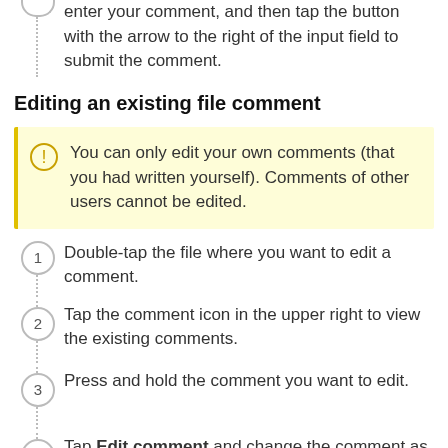enter your comment, and then tap the button with the arrow to the right of the input field to submit the comment.
Editing an existing file comment
You can only edit your own comments (that you had written yourself). Comments of other users cannot be edited.
1. Double-tap the file where you want to edit a comment.
2. Tap the comment icon in the upper right to view the existing comments.
3. Press and hold the comment you want to edit.
4. Tap Edit comment and change the comment as...